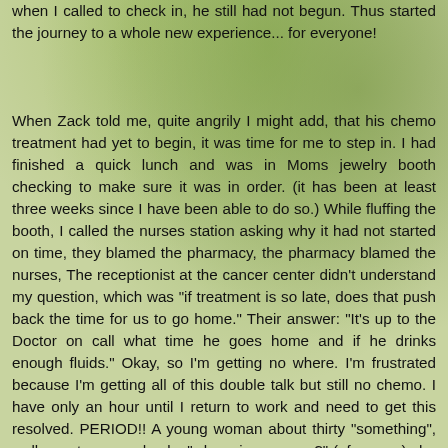when I called to check in, he still had not begun. Thus started the journey to a whole new experience... for everyone!
When Zack told me, quite angrily I might add, that his chemo treatment had yet to begin, it was time for me to step in. I had finished a quick lunch and was in Moms jewelry booth checking to make sure it was in order. (it has been at least three weeks since I have been able to do so.) While fluffing the booth, I called the nurses station asking why it had not started on time, they blamed the pharmacy, the pharmacy blamed the nurses, The receptionist at the cancer center didn't understand my question, which was "if treatment is so late, does that push back the time for us to go home." Their answer: "It's up to the Doctor on call what time he goes home and if he drinks enough fluids." Okay, so I'm getting no where. I'm frustrated because I'm getting all of this double talk but still no chemo. I have only an hour until I return to work and need to get this resolved. PERIOD!! A young woman about thirty "something", walks up to me and asks "where is your son?" (of course) she had over heard my conversations (I'm not known for my subtlety). She said "I'm